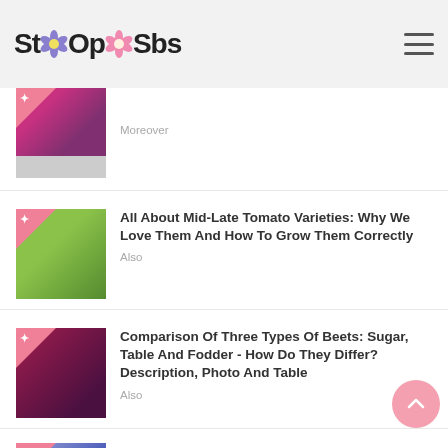StOp Sbs
Moreover
All About Mid-Late Tomato Varieties: Why We Love Them And How To Grow Them Correctly
Also
Comparison Of Three Types Of Beets: Sugar, Table And Fodder - How Do They Differ? Description, Photo And Table
Also